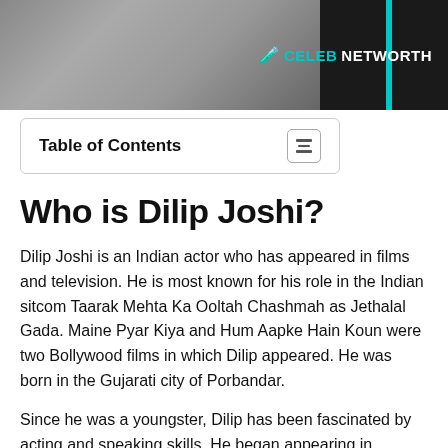[Figure (photo): Header banner with a photo of Dilip Joshi on the left side against a dark background, with a teal vertical bar and the CelebNetWorth logo in the top right corner]
Table of Contents
Who is Dilip Joshi?
Dilip Joshi is an Indian actor who has appeared in films and television. He is most known for his role in the Indian sitcom Taarak Mehta Ka Ooltah Chashmah as Jethalal Gada. Maine Pyar Kiya and Hum Aapke Hain Koun were two Bollywood films in which Dilip appeared. He was born in the Gujarati city of Porbandar.
Since he was a youngster, Dilip has been fascinated by acting and speaking skills. He began appearing in children's plays when he was 12 years old. Dilip was a